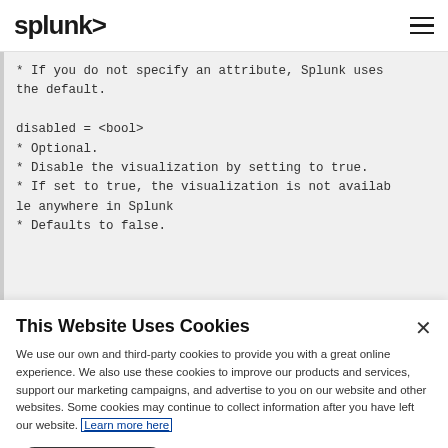splunk>
* If you do not specify an attribute, Splunk uses the default.

disabled = <bool>
* Optional.
* Disable the visualization by setting to true.
* If set to true, the visualization is not available anywhere in Splunk
* Defaults to false.
This Website Uses Cookies
We use our own and third-party cookies to provide you with a great online experience. We also use these cookies to improve our products and services, support our marketing campaigns, and advertise to you on our website and other websites. Some cookies may continue to collect information after you have left our website. Learn more here
Accept Cookies   Cookies Settings ›